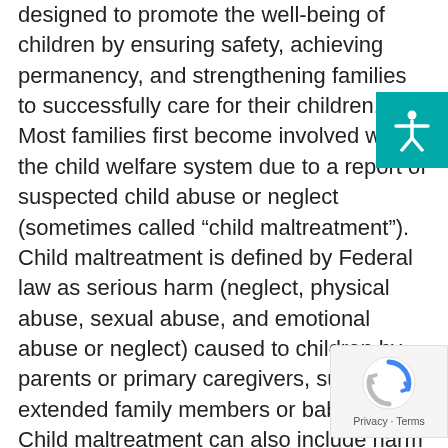designed to promote the well-being of children by ensuring safety, achieving permanency, and strengthening families to successfully care for their children. Most families first become involved with the child welfare system due to a report of suspected child abuse or neglect (sometimes called “child maltreatment”). Child maltreatment is defined by Federal law as serious harm (neglect, physical abuse, sexual abuse, and emotional abuse or neglect) caused to children by parents or primary caregivers, such as extended family members or babysitters. Child maltreatment can also include harm that a caregiver allows to happen (or does not prevent from happening) to a child. In general, child welfare agencies do not intervene in cases of harm to children caused by acquaintances or strangers. These cases are the responsibility of law enforcement. The child welfare system is not a single entity. Many
[Figure (other): Teal/cyan square accessibility icon button showing a human figure with arms outstretched (universal accessibility symbol) in white]
[Figure (other): reCAPTCHA privacy badge with Google reCAPTCHA logo and 'Privacy - Terms' text]